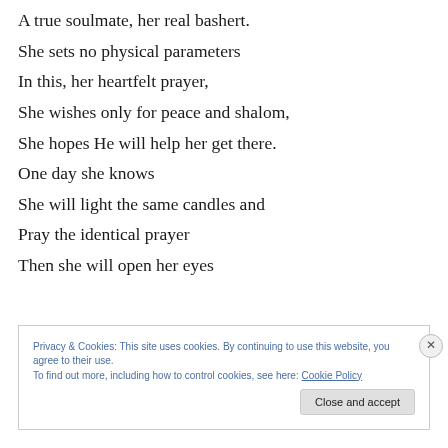A true soulmate, her real bashert.
She sets no physical parameters
In this, her heartfelt prayer,
She wishes only for peace and shalom,
She hopes He will help her get there.
One day she knows
She will light the same candles and
Pray the identical prayer
Then she will open her eyes
Privacy & Cookies: This site uses cookies. By continuing to use this website, you agree to their use.
To find out more, including how to control cookies, see here: Cookie Policy